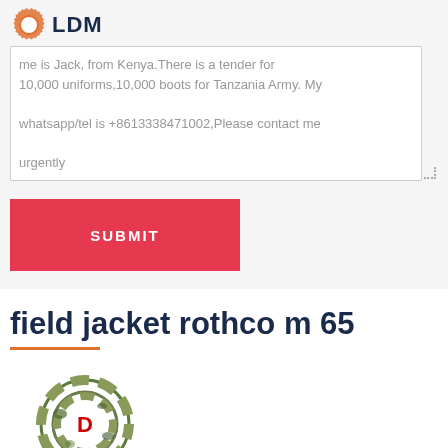[Figure (logo): LDM gear logo with gear icon and text LDM]
me is Jack, from Kenya.There is a tender for 10,000 uniforms,10,000 boots for Tanzania Army. My whatsapp/tel is +8613338471002,Please contact me urgently
SUBMIT
field jacket rothco m 65
[Figure (logo): Deekon logo - circular target logo in camouflage pattern with D letter and red DEEKON text below]
[Figure (photo): Camouflage fabric pattern photo at bottom of page]